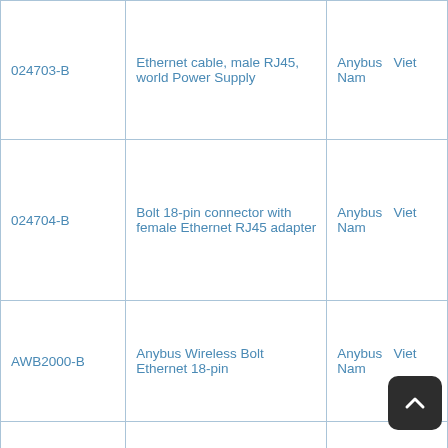| Part Number | Description | Brand/Origin |
| --- | --- | --- |
| 024703-B | Ethernet cable, male RJ45, world Power Supply | Anybus Viet Nam |
| 024704-B | Bolt 18-pin connector with female Ethernet RJ45 adapter | Anybus Viet Nam |
| AWB2000-B | Anybus Wireless Bolt Ethernet 18-pin | Anybus Viet Nam |
| AWB2000-B-10PACK | Anybus Wireless Bolt Ethernet 18-pin 10-PACK | Anybus Viet Nam |
|  |  |  |